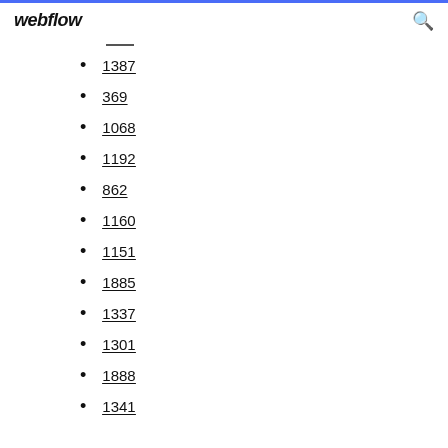webflow
1387
369
1068
1192
862
1160
1151
1885
1337
1301
1888
1341